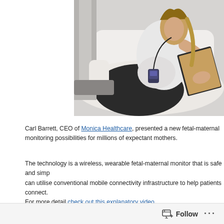[Figure (photo): A pregnant woman sitting cross-legged on a white sofa, reading a magazine. She is wearing a white top and black pants, with a small medical monitoring device (fetal-maternal monitor) attached near her belly via a strap.]
Carl Barrett, CEO of Monica Healthcare, presented a new fetal-maternal monitoring possibilities for millions of expectant mothers.
The technology is a wireless, wearable fetal-maternal monitor that is safe and simp... can utilise conventional mobile connectivity infrastructure to help patients connect. For more detail check out this explanatory video.
Follow ···